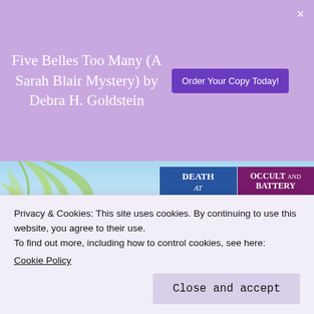Five Belles Too Many (A Sarah Blair Mystery) by Debra H. Goldstein
Order Your Copy Today!
[Figure (screenshot): Website screenshot showing book covers for 'Death at First Sight' and 'Occult and Battery' by Lena Gregory, with a tropical beach background with palm leaves, and an 'Also by this Author >' section with more book covers below.]
Privacy & Cookies: This site uses cookies. By continuing to use this website, you agree to their use.
To find out more, including how to control cookies, see here:
Cookie Policy
Close and accept